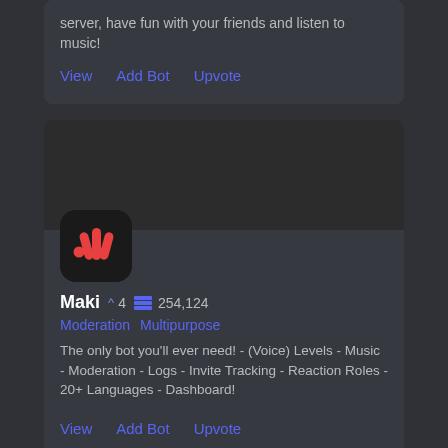server, have fun with your friends and listen to music!
View
Add Bot
Upvote
[Figure (logo): Maki bot logo: dark rounded square with red double-M wave mark]
Maki  ^4  254,124
Moderation  Multipurpose
The only bot you'll ever need! - (Voice) Levels - Music - Moderation - Logs - Invite Tracking - Reaction Roles - 20+ Languages - Dashboard!
View
Add Bot
Upvote